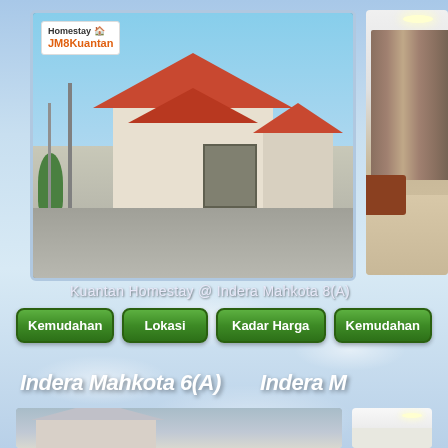[Figure (photo): Exterior photo of a Malaysian double-storey terrace house with red tile roof, gate, utility pole, and Homestay JM8 Kuantan logo overlay in top-left corner]
[Figure (photo): Partial interior photo showing brown curtains and ceiling light]
Kuantan Homestay @ Indera Mahkota 8(A)
Kemudahan
Lokasi
Kadar Harga
Kemudahan
Indera Mahkota 6(A)
Indera M
[Figure (photo): Exterior photo of another Malaysian terrace house]
[Figure (photo): Partial interior photo of another property]